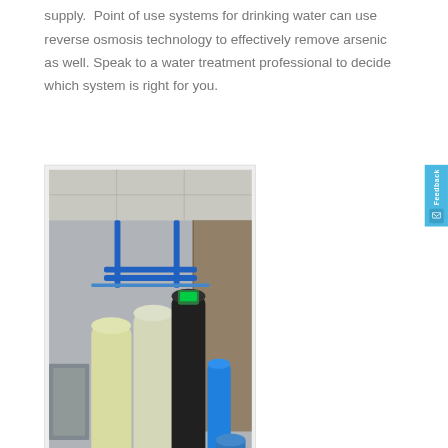supply.  Point of use systems for drinking water can use reverse osmosis technology to effectively remove arsenic as well. Speak to a water treatment professional to decide which system is right for you.
[Figure (photo): Photograph of water treatment system in a basement or utility room, showing multiple filter tanks (two light-colored cylindrical tanks, one black tank with digital head, and a blue cylindrical filter housing), along with blue pipes and other plumbing equipment.]